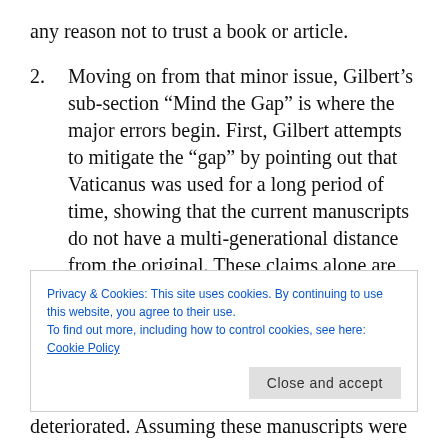any reason not to trust a book or article.
2. Moving on from that minor issue, Gilbert’s sub-section “Mind the Gap” is where the major errors begin. First, Gilbert attempts to mitigate the “gap” by pointing out that Vaticanus was used for a long period of time, showing that the current manuscripts do not have a multi-generational distance from the original. These claims alone are debatable; even so, this is a false analogy. Vaticanus is a codex on parchment and very nice parchment—a much more durable
Privacy & Cookies: This site uses cookies. By continuing to use this website, you agree to their use.
To find out more, including how to control cookies, see here: Cookie Policy
deteriorated. Assuming these manuscripts were